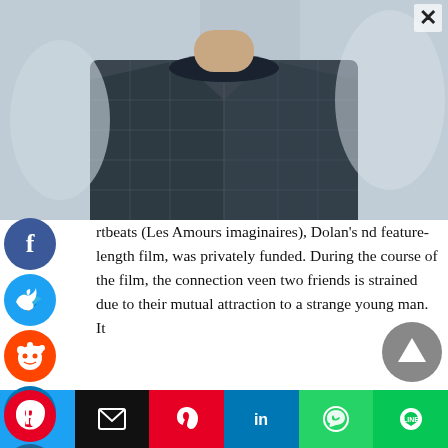[Figure (photo): A man wearing a dark plaid/checked blazer over a black t-shirt, photographed from chest up, blurred background]
rtbeats (Les Amours imaginaires), Dolan's nd feature-length film, was privately funded. During the course of the film, the connection veen two friends is strained due to their mutual attraction to a strange young man. It
[Figure (infographic): Social media sharing icons: Facebook (blue), Twitter (blue), Reddit (orange), LinkedIn (blue), Pinterest (red), MeWe (teal), and partial orange icon at bottom left. Also scroll-up arrow button (grey). Bottom bar with Twitter, Email, Pinterest, LinkedIn, WhatsApp, Line share buttons.]